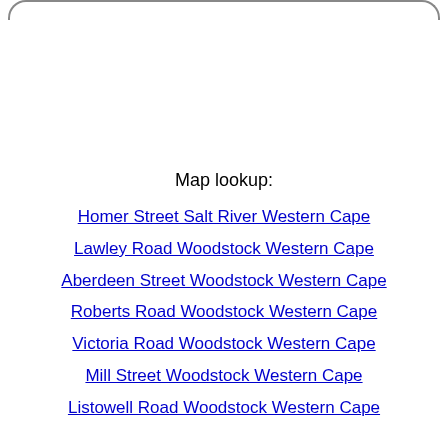Map lookup:
Homer Street Salt River Western Cape
Lawley Road Woodstock Western Cape
Aberdeen Street Woodstock Western Cape
Roberts Road Woodstock Western Cape
Victoria Road Woodstock Western Cape
Mill Street Woodstock Western Cape
Listowell Road Woodstock Western Cape